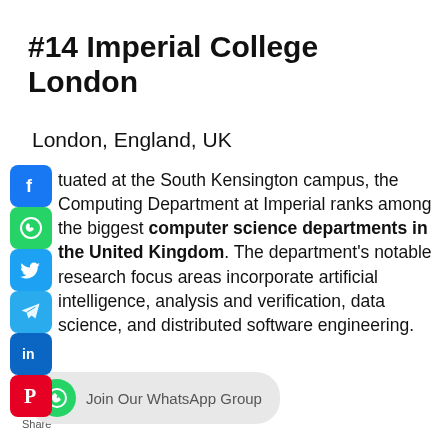#14 Imperial College London
London, England, UK
Situated at the South Kensington campus, the Computing Department at Imperial ranks among the biggest computer science departments in the United Kingdom. The department's notable research focus areas incorporate artificial intelligence, analysis and verification, data science, and distributed software engineering.
[Figure (infographic): Social media share icons: Facebook, WhatsApp, Twitter, Telegram, LinkedIn, Pinterest, and Share label]
[Figure (infographic): Join Our WhatsApp Group button with WhatsApp icon]